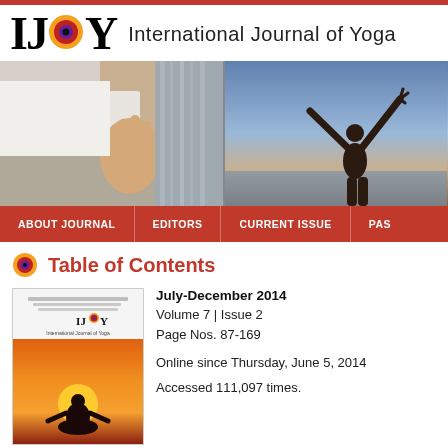[Figure (logo): IJOY - International Journal of Yoga logo with colorful circular emblem between IJ and Y letters]
[Figure (photo): Banner with two yoga photos: left shows close-up of hands in mudra position, right shows silhouette of person with arms raised by water at dusk]
ABOUT JOURNAL | EDITORS | CURRENT ISSUE | PAS...
Table of Contents
[Figure (photo): Cover of International Journal of Yoga Volume 7 Issue 2 July-December 2014 showing silhouette of meditating figure against sunset]
July-December 2014
Volume 7 | Issue 2
Page Nos. 87-169

Online since Thursday, June 5, 2014

Accessed 111,097 times.